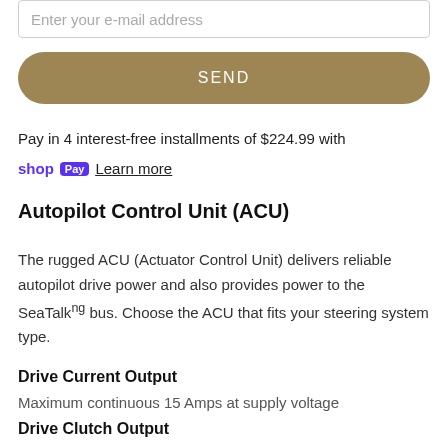Enter your e-mail address
SEND
Pay in 4 interest-free installments of $224.99 with shop Pay Learn more
Autopilot Control Unit (ACU)
The rugged ACU (Actuator Control Unit) delivers reliable autopilot drive power and also provides power to the SeaTalkⁿᴳ bus. Choose the ACU that fits your steering system type.
Drive Current Output
Maximum continuous 15 Amps at supply voltage
Drive Clutch Output